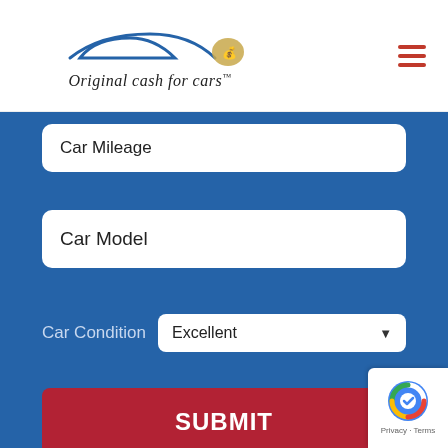Original cash for cars
Car Mileage
Car Model
Car Condition  Excellent
SUBMIT
Why Use Original Cash